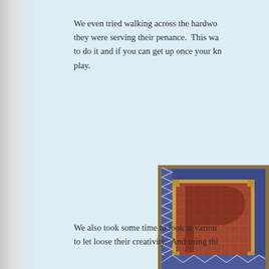We even tried walking across the hardwood floors on our knees as if they were serving their penance. This was actually quite difficult to do it and if you can get up once your knees hit the floor, child's play.
[Figure (illustration): Illuminated manuscript detail showing a decorative initial letter with blue border featuring zigzag patterns, gold trim corners, and a reddish-brown crosshatch patterned interior background. Medieval manuscript style.]
We also took some time to look at various to let loose their creativity. And using thi